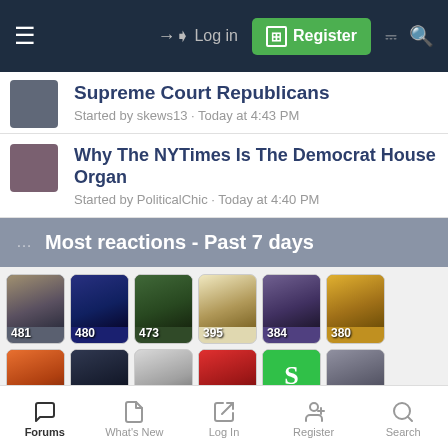Log in   Register
Supreme Court Republicans
Started by skews13 · Today at 4:43 PM
Why The NYTimes Is The Democrat House Organ
Started by PoliticalChic · Today at 4:40 PM
··· Most reactions - Past 7 days
[Figure (other): Grid of user avatar thumbnails with reaction counts: 481, 480, 473, 395, 384, 380, 337, 336, 335, 325, 322, 319, 302, 295, and partial row below]
Forums   What's New   Log In   Register   Search